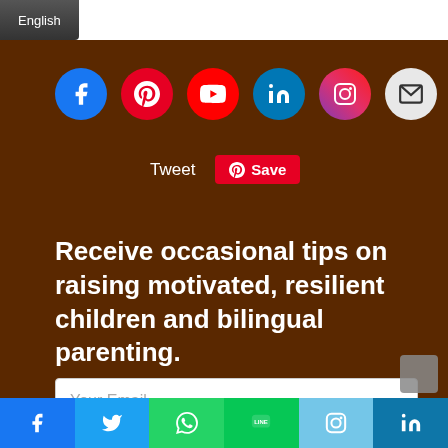English
[Figure (infographic): Row of social media icon circles: Facebook (blue), Pinterest (red), YouTube (red), LinkedIn (blue), Instagram (gradient pink/purple), Email (light grey)]
Tweet   Save
Receive occasional tips on raising motivated, resilient children and bilingual parenting.
Your Email
[Figure (infographic): Bottom social sharing bar with icons for Facebook, Twitter, WhatsApp, LINE, Instagram, LinkedIn]